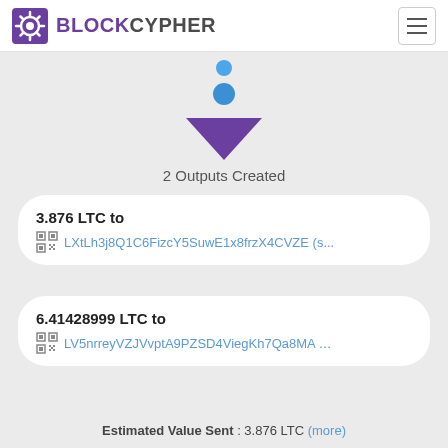BLOCKCYPHER
[Figure (infographic): Two blue circles and a downward-pointing purple triangle arrow indicating transaction flow]
2 Outputs Created
3.876 LTC to LXtLh3j8Q1C6FizcY5SuwE1x8frzX4CVZE (s...
6.41428999 LTC to LV5nrreyVZJVvptA9PZSD4ViegKh7Qa8MA ...
Estimated Value Sent : 3.876 LTC (more)